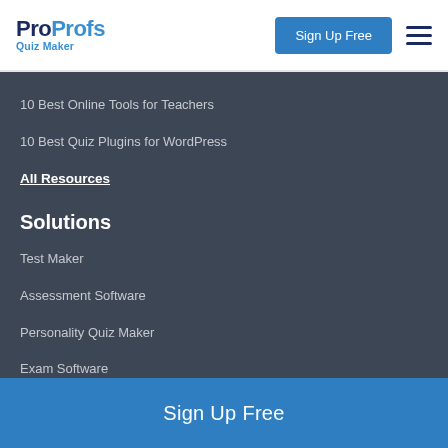[Figure (logo): ProProfs Quiz Maker logo with blue text]
Sign Up Free
10 Best Online Tools for Teachers
10 Best Quiz Plugins for WordPress
All Resources
Solutions
Test Maker
Assessment Software
Personality Quiz Maker
Exam Software
Sign Up Free